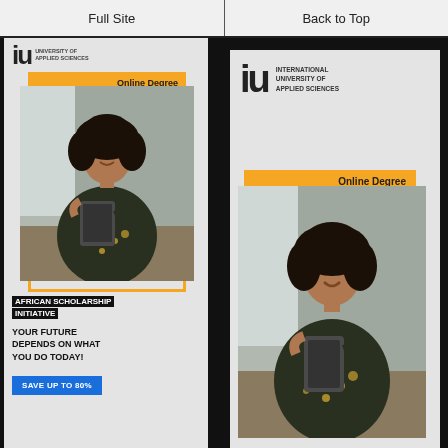Full Site | Back to Top
[Figure (screenshot): Left advertisement banner for IU International University of Applied Sciences. Shows partial IU logo at top, an orange 'Online Degree' tab, a photo of a smiling woman with curly hair holding a tablet in a floral blouse, text 'AFRICAN SCHOLARSHIP INITIATIVE', 'YOUR FUTURE DEPENDS ON WHAT YOU DO TODAY!', and a blue button 'SAVE UP TO 80%'.]
[Figure (screenshot): Right advertisement banner for IU International University of Applied Sciences. Shows IU logo with full text 'INTERNATIONAL UNIVERSITY OF APPLIED SCIENCES', an orange 'Online Degree' tab, and a larger photo of the same smiling woman with curly hair holding a tablet in a floral blouse.]